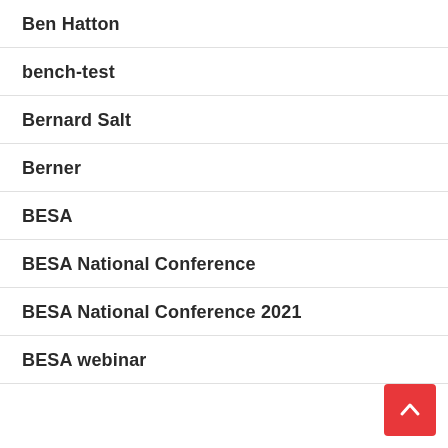Ben Hatton
bench-test
Bernard Salt
Berner
BESA
BESA National Conference
BESA National Conference 2021
BESA webinar